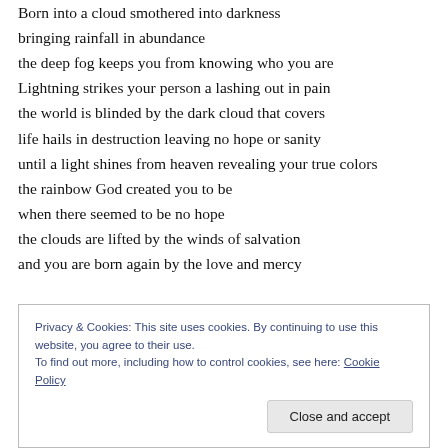Born into a cloud smothered into darkness
bringing rainfall in abundance
the deep fog keeps you from knowing who you are
Lightning strikes your person a lashing out in pain
the world is blinded by the dark cloud that covers
life hails in destruction leaving no hope or sanity
until a light shines from heaven revealing your true colors
the rainbow God created you to be
when there seemed to be no hope
the clouds are lifted by the winds of salvation
and you are born again by the love and mercy
Privacy & Cookies: This site uses cookies. By continuing to use this website, you agree to their use. To find out more, including how to control cookies, see here: Cookie Policy
Close and accept